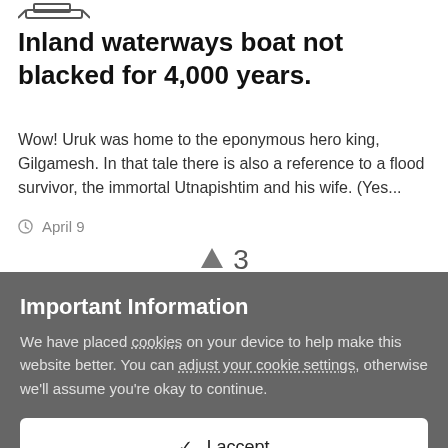[Figure (other): Small icon image of a boat partially visible at top left of card]
Inland waterways boat not blacked for 4,000 years.
Wow! Uruk was home to the eponymous hero king, Gilgamesh. In that tale there is also a reference to a flood survivor, the immortal Utnapishtim and his wife. (Yes...
⊙ April 9
↑ 3
POINTS
Important Information
We have placed cookies on your device to help make this website better. You can adjust your cookie settings, otherwise we'll assume you're okay to continue.
✓ I accept